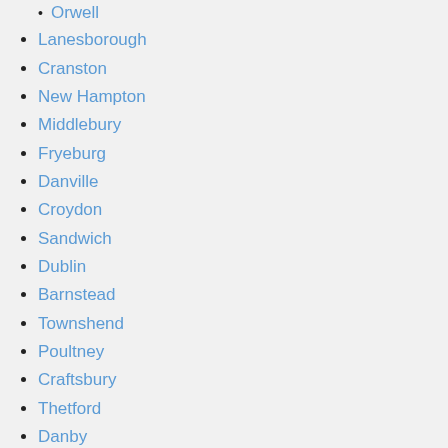Lanesborough
Cranston
New Hampton
Middlebury
Fryeburg
Danville
Croydon
Sandwich
Dublin
Barnstead
Townshend
Poultney
Craftsbury
Thetford
Danby
Lee
East Montpelier
Gilmanton
Waitfield (partial)